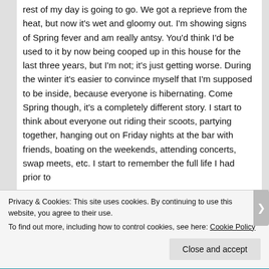rest of my day is going to go. We got a reprieve from the heat, but now it's wet and gloomy out. I'm showing signs of Spring fever and am really antsy. You'd think I'd be used to it by now being cooped up in this house for the last three years, but I'm not; it's just getting worse. During the winter it's easier to convince myself that I'm supposed to be inside, because everyone is hibernating. Come Spring though, it's a completely different story. I start to think about everyone out riding their scoots, partying together, hanging out on Friday nights at the bar with friends, boating on the weekends, attending concerts, swap meets, etc. I start to remember the full life I had prior to
Privacy & Cookies: This site uses cookies. By continuing to use this website, you agree to their use. To find out more, including how to control cookies, see here: Cookie Policy
Close and accept